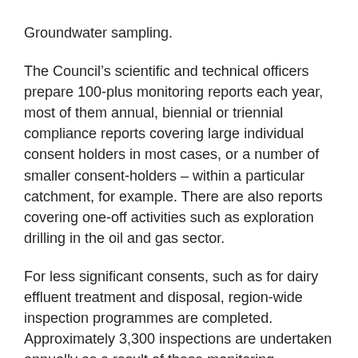Groundwater sampling.
The Council's scientific and technical officers prepare 100-plus monitoring reports each year, most of them annual, biennial or triennial compliance reports covering large individual consent holders in most cases, or a number of smaller consent-holders – within a particular catchment, for example. There are also reports covering one-off activities such as exploration drilling in the oil and gas sector.
For less significant consents, such as for dairy effluent treatment and disposal, region-wide inspection programmes are completed. Approximately 3,300 inspections are undertaken annually as a result of these monitoring programmes, which are carried out on a user-pays basis.